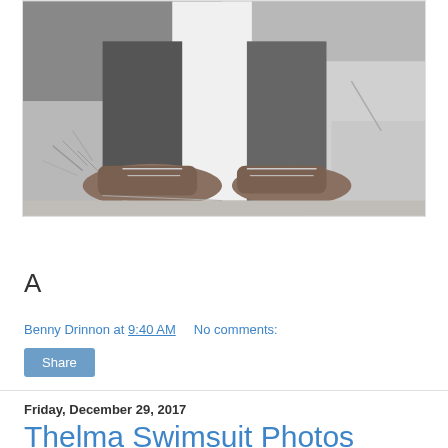[Figure (photo): Black and white photograph showing the lower body of a person standing, wearing a white apron or dress, black trousers, and worn lace-up leather shoes. The background shows concrete steps and dry grass/tumbleweed.]
A
Benny Drinnon at 9:40 AM    No comments:
Share
Friday, December 29, 2017
Thelma Swimsuit Photos